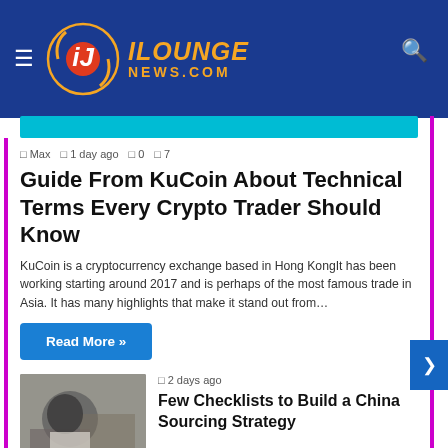iLounge News.com
Max  1 day ago  0  7
Guide From KuCoin About Technical Terms Every Crypto Trader Should Know
KuCoin is a cryptocurrency exchange based in Hong KongIt has been working starting around 2017 and is perhaps of the most famous trade in Asia. It has many highlights that make it stand out from…
Read More »
[Figure (photo): Photo of a manufacturing or industrial worker with gloves working at a table]
2 days ago
Few Checklists to Build a China Sourcing Strategy